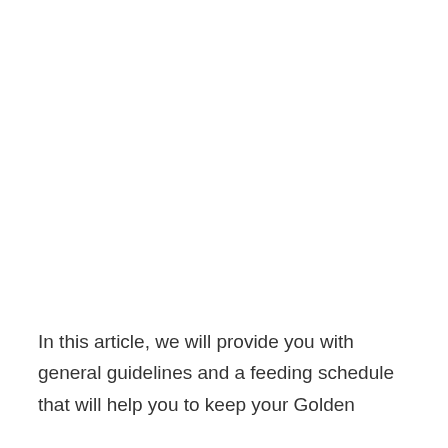In this article, we will provide you with general guidelines and a feeding schedule that will help you to keep your Golden